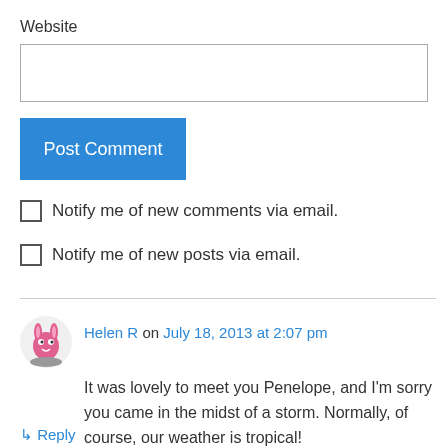Website
[Figure (screenshot): Empty website text input field with border]
Post Comment
Notify me of new comments via email.
Notify me of new posts via email.
Helen R on July 18, 2013 at 2:07 pm
It was lovely to meet you Penelope, and I'm sorry you came in the midst of a storm. Normally, of course, our weather is tropical!
Reply